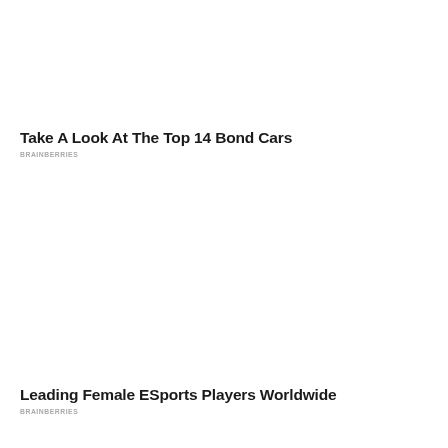Take A Look At The Top 14 Bond Cars
BRAINBERRIES
Leading Female ESports Players Worldwide
BRAINBERRIES